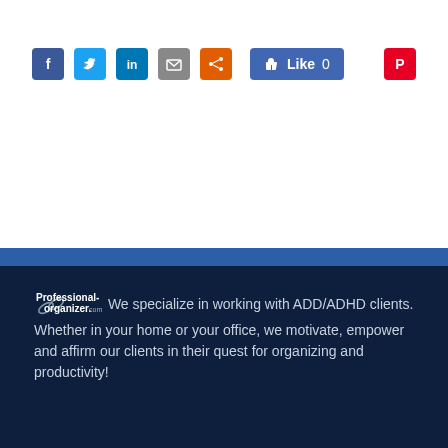[Figure (other): Social media share icons: Facebook (blue), Twitter (blue), LinkedIn (blue), Email (grey), Share (orange), Facebook Like button showing 0 likes, Pinterest (red)]
Professional-organizer.com We specialize in working with ADD/ADHD clients. Whether in your home or your office, we motivate, empower and affirm our clients in their quest for organizing and productivity!